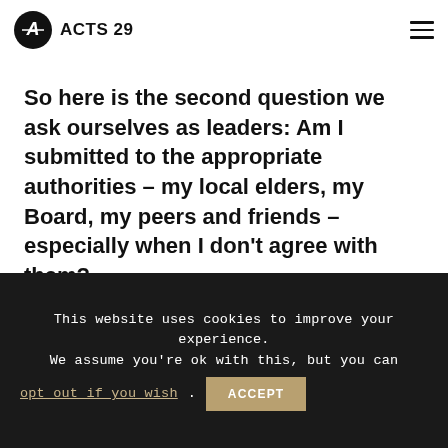ACTS 29
So here is the second question we ask ourselves as leaders: Am I submitted to the appropriate authorities – my local elders, my Board, my peers and friends – especially when I don't agree with them?
This website uses cookies to improve your experience. We assume you're ok with this, but you can opt out if you wish. ACCEPT